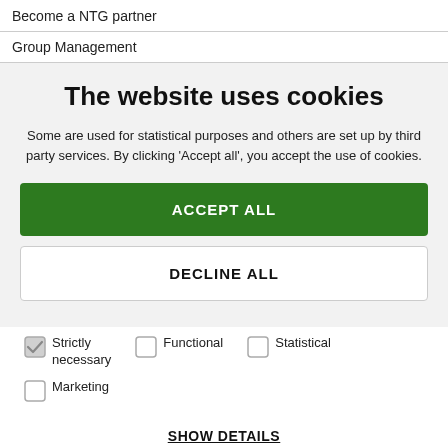Become a NTG partner
Group Management
The website uses cookies
Some are used for statistical purposes and others are set up by third party services. By clicking 'Accept all', you accept the use of cookies.
ACCEPT ALL
DECLINE ALL
Strictly necessary
Functional
Statistical
Marketing
SHOW DETAILS